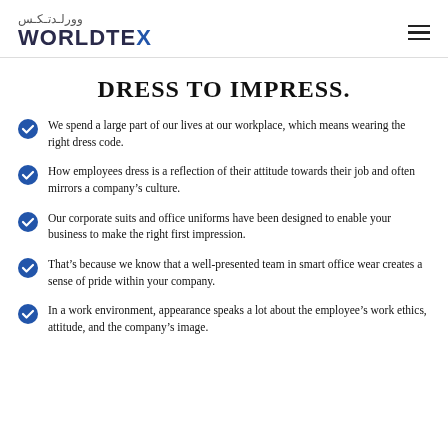وورلدتكس WORLDTEX
DRESS TO IMPRESS.
We spend a large part of our lives at our workplace, which means wearing the right dress code.
How employees dress is a reflection of their attitude towards their job and often mirrors a company's culture.
Our corporate suits and office uniforms have been designed to enable your business to make the right first impression.
That's because we know that a well-presented team in smart office wear creates a sense of pride within your company.
In a work environment, appearance speaks a lot about the employee's work ethics, attitude, and the company's image.